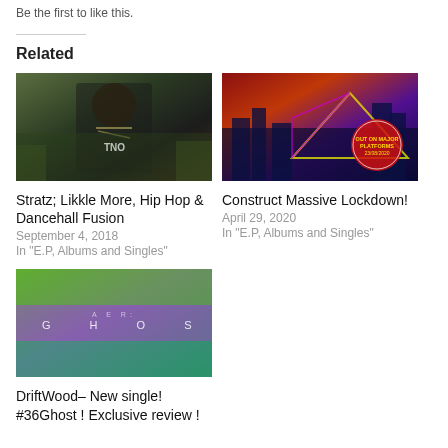Be the first to like this.
Related
[Figure (photo): Hip hop artist wearing chain necklace outdoors]
Stratz; Likkle More, Hip Hop & Dancehall Fusion
September 4, 2018
In "E.P, Albums and Singles"
[Figure (photo): Album artwork for Construct Massive Lockdown with neon pyramid and cityscape]
Construct Massive Lockdown!
April 29, 2020
In "E.P, Albums and Singles"
[Figure (photo): Album artwork for DriftWood #36Ghost with colorful abstract design]
DriftWood– New single! #36Ghost ! Exclusive review !